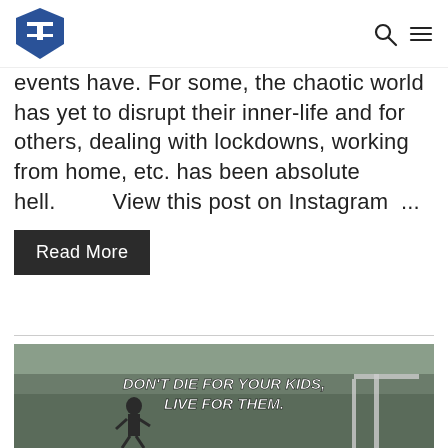[Logo] [Search icon] [Menu icon]
events have. For some, the chaotic world has yet to disrupt their inner-life and for others, dealing with lockdowns, working from home, etc. has been absolute hell.        View this post on Instagram  ...
Read More
[Figure (photo): Photo of a person running outdoors with text overlay: DON'T DIE FOR YOUR KIDS, LIVE FOR THEM.]